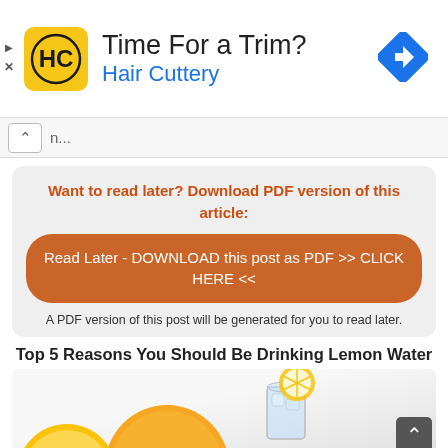[Figure (screenshot): Hair Cuttery advertisement banner with HC logo, text 'Time For a Trim? Hair Cuttery', and a blue navigation diamond icon on the right. Small play and X icons on the left edge.]
n...
Want to read later? Download PDF version of this article:
Read Later - DOWNLOAD this post as PDF >> CLICK HERE <<
A PDF version of this post will be generated for you to read later.
Top 5 Reasons You Should Be Drinking Lemon Water
[Figure (photo): Photo of lemons and a glass of water with lemon slice, partially visible at the bottom of the page.]